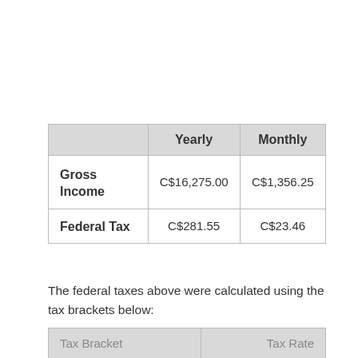|  | Yearly | Monthly |
| --- | --- | --- |
| Gross Income | C$16,275.00 | C$1,356.25 |
| Federal Tax | C$281.55 | C$23.46 |
The federal taxes above were calculated using the tax brackets below:
| Tax Bracket | Tax Rate |
| --- | --- |